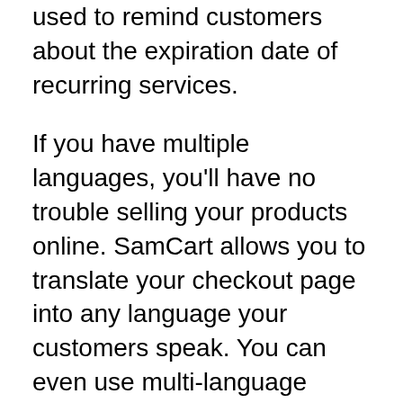used to remind customers about the expiration date of recurring services.
If you have multiple languages, you'll have no trouble selling your products online. SamCart allows you to translate your checkout page into any language your customers speak. You can even use multi-language templates, including those that are designed for international markets. You can choose from “World Wide” or “One-Page Funnel” to create a multilingual shopping cart. Scroll down to personalize it and then save it.
SamCart has a lot of built-in integrations with popular 3rd party apps, including Zapier and Infusionsoft. It can also be used to integrate